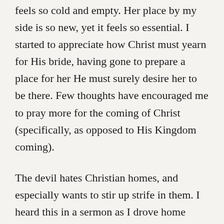feels so cold and empty. Her place by my side is so new, yet it feels so essential. I started to appreciate how Christ must yearn for His bride, having gone to prepare a place for her He must surely desire her to be there. Few thoughts have encouraged me to pray more for the coming of Christ (specifically, as opposed to His Kingdom coming).
The devil hates Christian homes, and especially wants to stir up strife in them. I heard this in a sermon as I drove home from work yesterday, agreed with it, and saw it illustrated instantly in what he tried to provoke in my heart. To my shame I had too much of a “that’s true, but it won’t apply